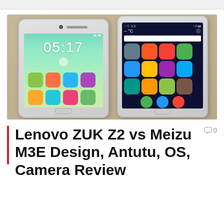[Figure (photo): Two smartphones side by side on a wooden surface: left phone (Lenovo ZUK Z2) showing a lock screen with time 05:17 and colorful app icons on a teal/green background, right phone (Meizu M3E) showing a home screen with app icons on a dark/navy background.]
Lenovo ZUK Z2 vs Meizu M3E Design, Antutu, OS, Camera Review